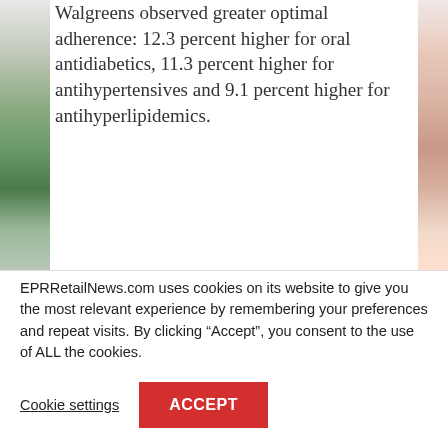Walgreens observed greater optimal adherence: 12.3 percent higher for oral antidiabetics, 11.3 percent higher for antihypertensives and 9.1 percent higher for antihyperlipidemics.
EPRRetailNews.com uses cookies on its website to give you the most relevant experience by remembering your preferences and repeat visits. By clicking “Accept”, you consent to the use of ALL the cookies.